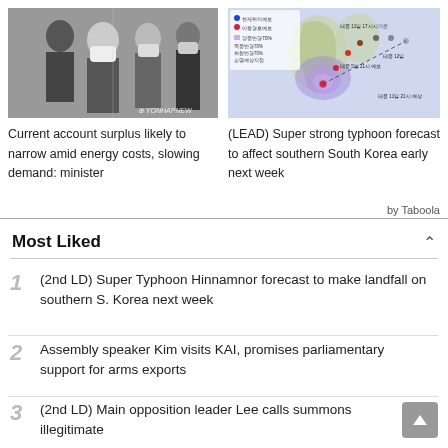[Figure (photo): People in suits and masks at a meeting, Yonhap News watermark]
Current account surplus likely to narrow amid energy costs, slowing demand: minister
[Figure (map): Typhoon forecast track map showing path toward South Korea with Korean text annotations]
(LEAD) Super strong typhoon forecast to affect southern South Korea early next week
by Taboola
Most Liked
(2nd LD) Super Typhoon Hinnamnor forecast to make landfall on southern S. Korea next week
Assembly speaker Kim visits KAI, promises parliamentary support for arms exports
(2nd LD) Main opposition leader Lee calls summons illegitimate